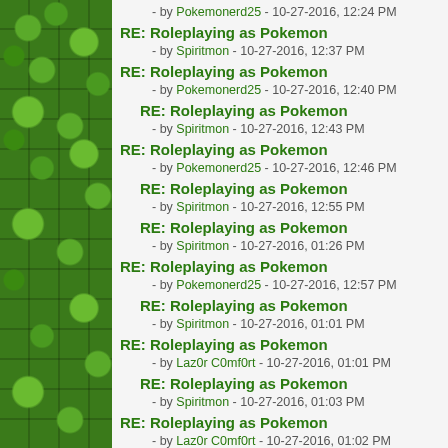[Figure (illustration): Green pixelated Minecraft-style grass/leaves texture panel on the left side]
RE: Roleplaying as Pokemon - by Pokemonerd25 - 10-27-2016, 12:24 PM
RE: Roleplaying as Pokemon - by Spiritmon - 10-27-2016, 12:37 PM
RE: Roleplaying as Pokemon - by Pokemonerd25 - 10-27-2016, 12:40 PM
RE: Roleplaying as Pokemon - by Spiritmon - 10-27-2016, 12:43 PM
RE: Roleplaying as Pokemon - by Pokemonerd25 - 10-27-2016, 12:46 PM
RE: Roleplaying as Pokemon - by Spiritmon - 10-27-2016, 12:55 PM
RE: Roleplaying as Pokemon - by Spiritmon - 10-27-2016, 01:26 PM
RE: Roleplaying as Pokemon - by Pokemonerd25 - 10-27-2016, 12:57 PM
RE: Roleplaying as Pokemon - by Spiritmon - 10-27-2016, 01:01 PM
RE: Roleplaying as Pokemon - by Laz0r C0mf0rt - 10-27-2016, 01:01 PM
RE: Roleplaying as Pokemon - by Spiritmon - 10-27-2016, 01:03 PM
RE: Roleplaying as Pokemon - by Laz0r C0mf0rt - 10-27-2016, 01:02 PM
RE: Roleplaying as Pokemon - by Pokemonerd25 - 10-27-2016, 01:03 PM
RE: Roleplaying as Pokemon - by SmokedMemes - 10-27-2016, 01:08 PM